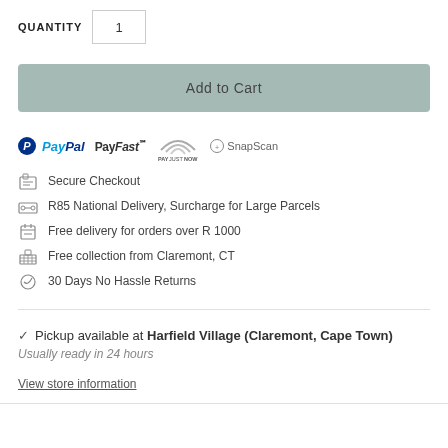QUANTITY  1
Add to Cart
[Figure (logo): Payment logos: PayPal, PayFast, PayJustNow, SnapScan]
Secure Checkout
R85 National Delivery, Surcharge for Large Parcels
Free delivery for orders over R 1000
Free collection from Claremont, CT
30 Days No Hassle Returns
✓ Pickup available at Harfield Village (Claremont, Cape Town)
Usually ready in 24 hours
View store information